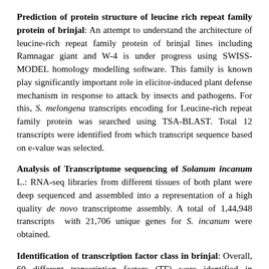Prediction of protein structure of leucine rich repeat family protein of brinjal: An attempt to understand the architecture of leucine-rich repeat family protein of brinjal lines including Ramnagar giant and W-4 is under progress using SWISS-MODEL homology modelling software. This family is known play significantly important role in elicitor-induced plant defense mechanism in response to attack by insects and pathogens. For this, S. melongena transcripts encoding for Leucine-rich repeat family protein was searched using TSA-BLAST. Total 12 transcripts were identified from which transcript sequence based on e-value was selected.
Analysis of Transcriptome sequencing of Solanum incanum L.: RNA-seq libraries from different tissues of both plant were deep sequenced and assembled into a representation of a high quality de novo transcriptome assembly. A total of 1,44,948 transcripts with 21,706 unique genes for S. incanum were obtained.
Identification of transcription factor class in brinjal: Overall, 60 different transcription factors (TF) were identified in responses to biotic and abiotic stresses which play a pivotal role in expression and developmental pathways. Total of 2182 and 2348 genes were identified classified into than 58 TF families in transcriptome of S.